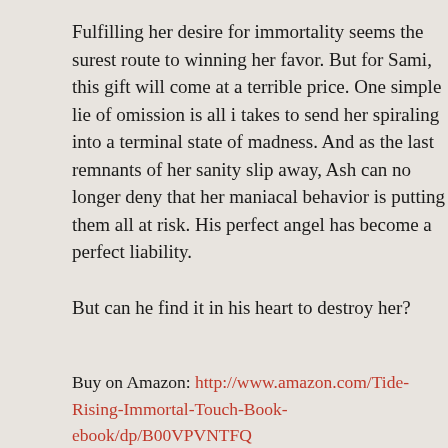Fulfilling her desire for immortality seems the surest route to winning her favor. But for Sami, this gift will come at a terrible price. One simple lie of omission is all it takes to send her spiraling into a terminal state of madness. And as the last remnants of her sanity slip away, Ash can no longer deny that her maniacal behavior is putting them all at risk. His perfect angel has become a perfect liability.

But can he find it in his heart to destroy her?
Buy on Amazon: http://www.amazon.com/Tide-Rising-Immortal-Touch-Book-ebook/dp/B00VPVNTFQ
Amazon UK: http://www.amazon.co.uk/Tide-Rising-Immortal-Touch-Book-ebook/dp/B00VPVNTFQ
Read an excerpt from the book: